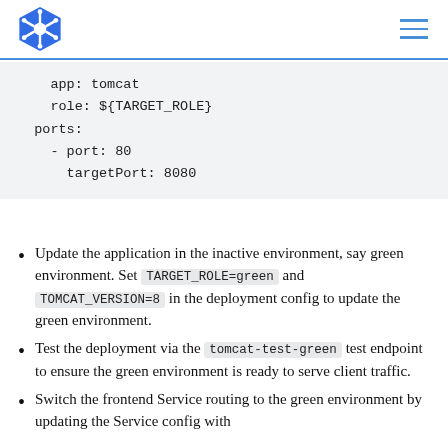Kubernetes documentation page header with logo and navigation
app: tomcat
    role: ${TARGET_ROLE}
  ports:
    - port: 80
      targetPort: 8080
Update the application in the inactive environment, say green environment. Set TARGET_ROLE=green and TOMCAT_VERSION=8 in the deployment config to update the green environment.
Test the deployment via the tomcat-test-green test endpoint to ensure the green environment is ready to serve client traffic.
Switch the frontend Service routing to the green environment by updating the Service config with